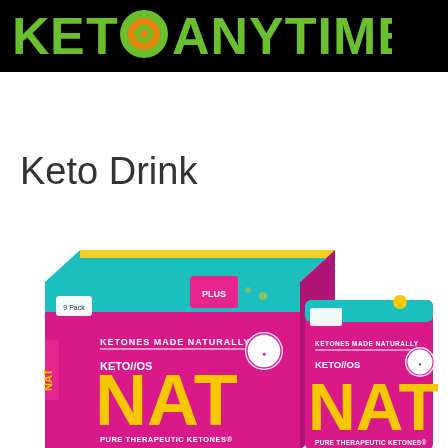[Figure (logo): KETO ANYTIME logo in green bold text with an orange/green circular target icon replacing the letter O, on a black background]
Keto Drink
[Figure (photo): Product photo of KETO//OS NAT Pure Therapeutic Ketones supplement drink mix. Shows a large pink and teal box and a pink individual serving packet, both branded with KETO//OS NAT in large yellow letters, with text 'KETONES MADE NATURALLY' and 'PURE THERAPEUTIC KETONES'.]